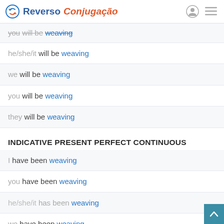Reverso Conjugação
you will be weaving
he/she/it will be weaving
we will be weaving
you will be weaving
they will be weaving
INDICATIVE PRESENT PERFECT CONTINUOUS
I have been weaving
you have been weaving
he/she/it has been weaving
we have been weaving